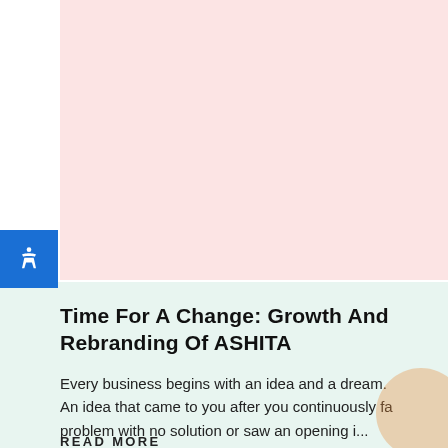[Figure (illustration): Light pink rectangular background section in the upper portion of the page]
[Figure (illustration): Blue accessibility button with white human figure icon on the left side]
Time For A Change: Growth And Rebranding Of ASHITA
Every business begins with an idea and a dream. An idea that came to you after you continuously fa problem with no solution or saw an opening i...
READ MORE